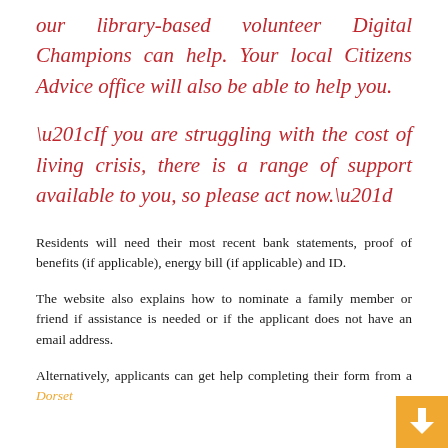our library-based volunteer Digital Champions can help. Your local Citizens Advice office will also be able to help you.
“If you are struggling with the cost of living crisis, there is a range of support available to you, so please act now.”
Residents will need their most recent bank statements, proof of benefits (if applicable), energy bill (if applicable) and ID.
The website also explains how to nominate a family member or friend if assistance is needed or if the applicant does not have an email address.
Alternatively, applicants can get help completing their form from a Dorset